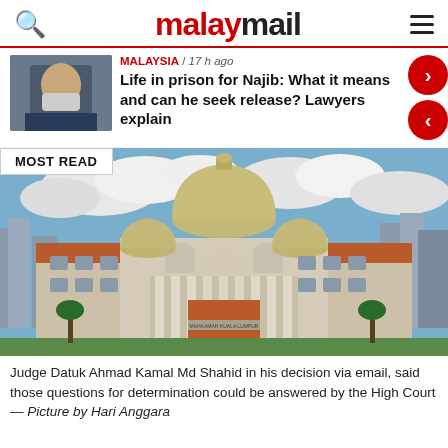malaymail
MALAYSIA / 17 h ago
Life in prison for Najib: What it means and can he seek release? Lawyers explain
[Figure (photo): Thumbnail photo of Najib wearing a face mask]
MOST READ
[Figure (photo): Aerial photo of the Kuala Lumpur High Court building with golden dome, red-tiled wings, cloudy sky]
Judge Datuk Ahmad Kamal Md Shahid in his decision via email, said those questions for determination could be answered by the High Court — Picture by Hari Anggara